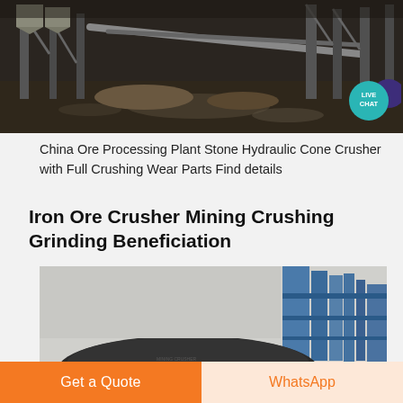[Figure (photo): Industrial ore processing plant interior showing metal structural framework, conveyor systems, and wet concrete floor with scattered material in a large industrial facility]
[Figure (infographic): Live Chat badge — teal circular badge with white text 'LIVE CHAT' and dark purple speech bubble icon to the right]
China Ore Processing Plant Stone Hydraulic Cone Crusher with Full Crushing Wear Parts Find details
Iron Ore Crusher Mining Crushing Grinding Beneficiation
[Figure (photo): Industrial iron ore crusher and blue steel industrial tower/silo structure outdoors under an overcast sky, with dome-shaped crusher visible in foreground]
Get a Quote
WhatsApp